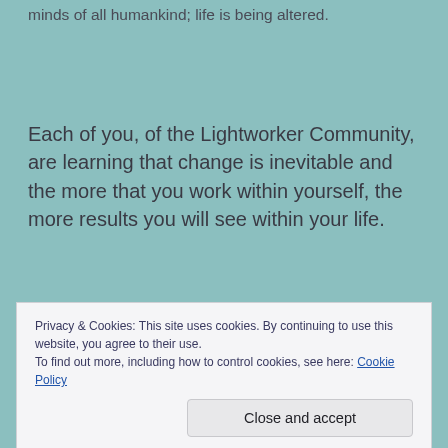minds of all humankind; life is being altered.
Each of you, of the Lightworker Community, are learning that change is inevitable and the more that you work within yourself, the more results you will see within your life.
Some of you may be saying “Oh, is there more to come? What is happening upon the Earth? I thought
Privacy & Cookies: This site uses cookies. By continuing to use this website, you agree to their use.
To find out more, including how to control cookies, see here: Cookie Policy
Close and accept
personal existence through your physical body,